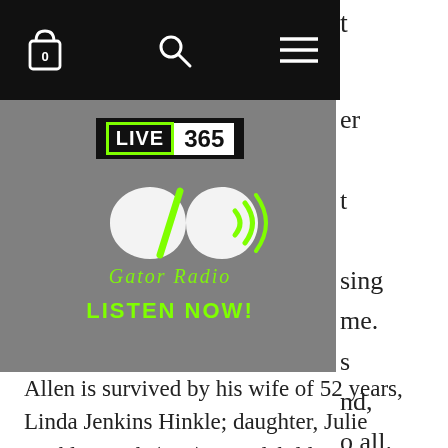[Figure (screenshot): Navigation bar with shopping bag icon showing 0, search icon, and hamburger menu icon on black background]
[Figure (logo): Gator Radio advertisement banner on gray background featuring Live 365 logo, Gator Radio logo with infinity symbol and wifi/broadcast icon, cursive Gator Radio text, and green LISTEN NOW! call to action]
er
t
sing me. s nd, o all.
Allen is survived by his wife of 52 years, Linda Jenkins Hinkle; daughter, Julie Hinkle Smith (Lee); grandchildren, Dawson Hinkle, Seth Hinkle, Shelby Smith, Claire Smith,